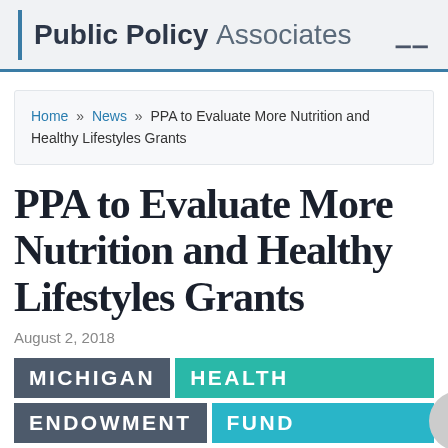Public Policy Associates
Home » News » PPA to Evaluate More Nutrition and Healthy Lifestyles Grants
PPA to Evaluate More Nutrition and Healthy Lifestyles Grants
August 2, 2018
[Figure (logo): Michigan Health Endowment Fund logo with gray and teal color blocks]